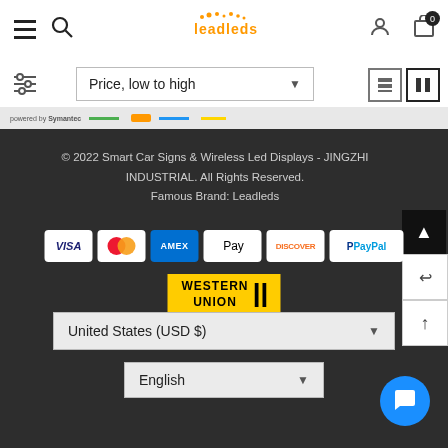[Figure (logo): Leadleds logo with orange dot pattern and orange text]
Price, low to high
[Figure (screenshot): Trust bar with Symantec powered by and other trust logos]
© 2022 Smart Car Signs & Wireless Led Displays - JINGZHI INDUSTRIAL. All Rights Reserved. Famous Brand: Leadleds
[Figure (infographic): Payment method icons: VISA, MasterCard, AMEX, Apple Pay, Discover, PayPal, Western Union]
United States (USD $)
English